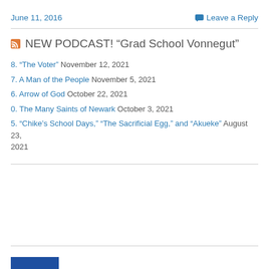June 11, 2016
Leave a Reply
NEW PODCAST! “Grad School Vonnegut”
8. "The Voter" November 12, 2021
7. A Man of the People November 5, 2021
6. Arrow of God October 22, 2021
0. The Many Saints of Newark October 3, 2021
5. "Chike's School Days," "The Sacrificial Egg," and "Akueke" August 23, 2021